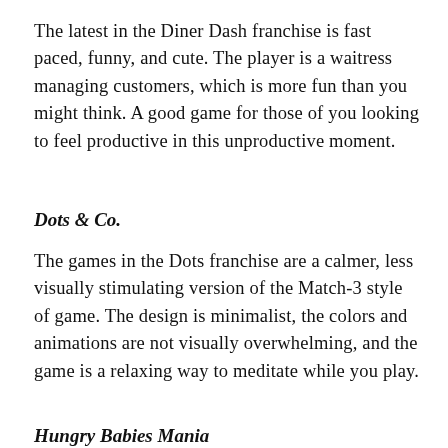The latest in the Diner Dash franchise is fast paced, funny, and cute. The player is a waitress managing customers, which is more fun than you might think. A good game for those of you looking to feel productive in this unproductive moment.
Dots & Co.
The games in the Dots franchise are a calmer, less visually stimulating version of the Match-3 style of game. The design is minimalist, the colors and animations are not visually overwhelming, and the game is a relaxing way to meditate while you play.
Hungry Babies Mania